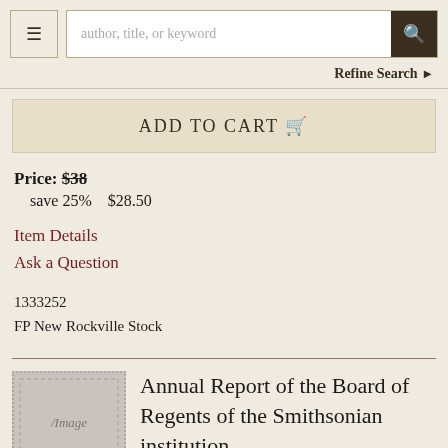author, title, or keyword
Refine Search
ADD TO CART
Price: $38  save 25%  $28.50
Item Details
Ask a Question
1333252
FP New Rockville Stock
Annual Report of the Board of Regents of the Smithsonian institution